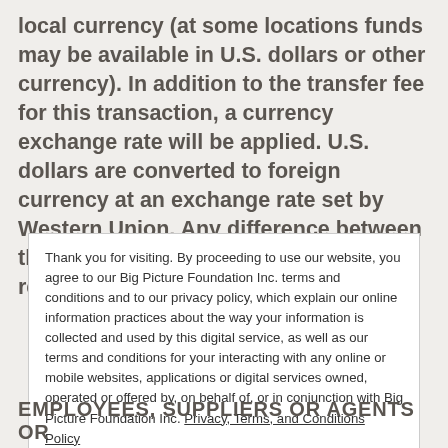local currency (at some locations funds may be available in U.S. dollars or other currency). In addition to the transfer fee for this transaction, a currency exchange rate will be applied. U.S. dollars are converted to foreign currency at an exchange rate set by Western Union. Any difference between the rate given to you and the rate received by Western Union
Thank you for visiting. By proceeding to use our website, you agree to our Big Picture Foundation Inc. terms and conditions and to our privacy policy, which explain our online information practices about the way your information is collected and used by this digital service, as well as our terms and conditions for your interacting with any online or mobile websites, applications or digital services owned, operated or offered by, on behalf of, or in conjunction with Big Picture Foundation Inc. Privacy, Terms, and Conditions Policy
Close and accept
EMPLOYEES, SUPPLIERS OR AGENTS OR